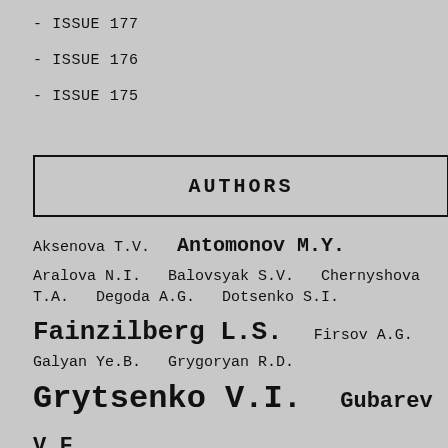- ISSUE 177
- ISSUE 176
- ISSUE 175
AUTHORS
Aksenova T.V.  Antomonov M.Y.  Aralova N.I.  Balovsyak S.V.  Chernyshova T.A.  Degoda A.G.  Dotsenko S.I.  Fainzilberg L.S.  Firsov A.G.  Galyan Ye.B.  Grygoryan R.D.  Grytsenko V.I.  Gubarev V.F.